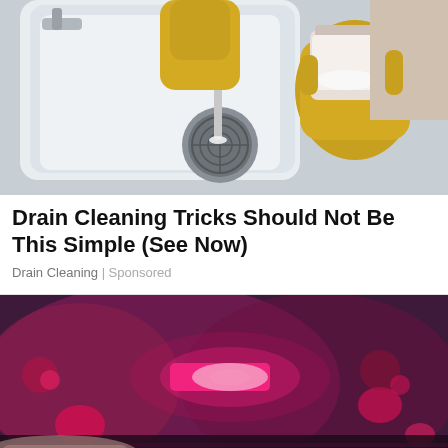[Figure (photo): Person wearing yellow rubber gloves cleaning a white sink drain using a spoon and a jar of white powder (likely baking soda)]
Drain Cleaning Tricks Should Not Be This Simple (See Now)
Drain Cleaning | Sponsored
[Figure (photo): Blurred photo of police car emergency lights in pink and red tones at night]